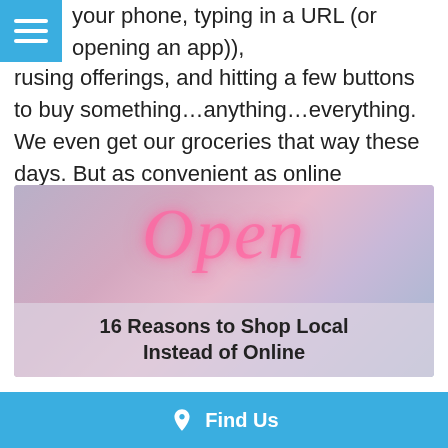your phone, typing in a URL (or opening an app), rusing offerings, and hitting a few buttons to buy something…anything…everything. We even get our groceries that way these days. But as convenient as online shopping seems, there are several reasons to shop local.
[Figure (photo): Neon 'Open' sign in pink light with overlay text reading '16 Reasons to Shop Local Instead of Online']
Find Us